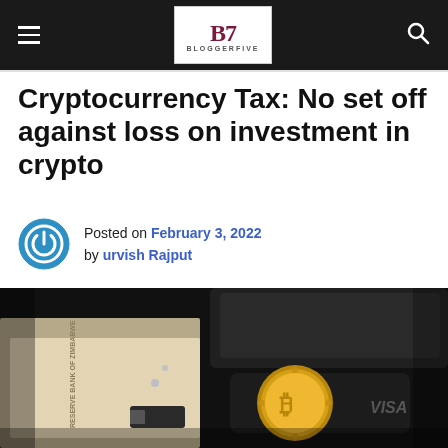BLOGGERFIVE
Cryptocurrency Tax: No set off against loss on investment in crypto
Posted on February 3, 2022 by urvish Rajput
[Figure (photo): Close-up photograph of a gold Bitcoin coin, a USB drive, paper currency (Reserve Bank of Zimbabwe notes), a black leather wallet, and a dark credit/debit card on a surface.]